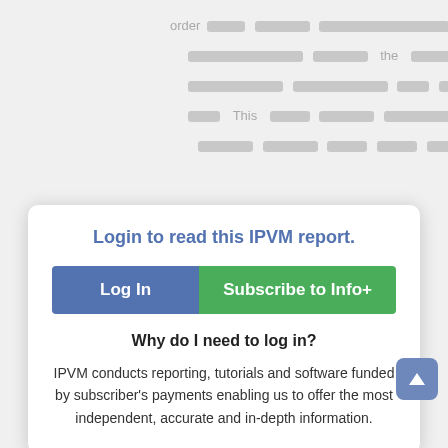[Figure (screenshot): Blurred/redacted background document text with visible words: order, the, This, theoretically, integrity, footage]
Login to read this IPVM report.
[Figure (other): Two buttons: 'Log In' (blue) and 'Subscribe to Info+' (green)]
Why do I need to log in?
IPVM conducts reporting, tutorials and software funded by subscriber's payments enabling us to offer the most independent, accurate and in-depth information.